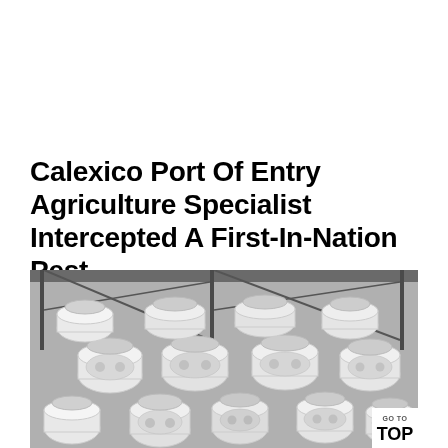Calexico Port Of Entry Agriculture Specialist Intercepted A First-In-Nation Pest
[Figure (photo): Black and white photograph showing many white plastic bottles with labels stacked together in crates or shelving, viewed from above at an angle.]